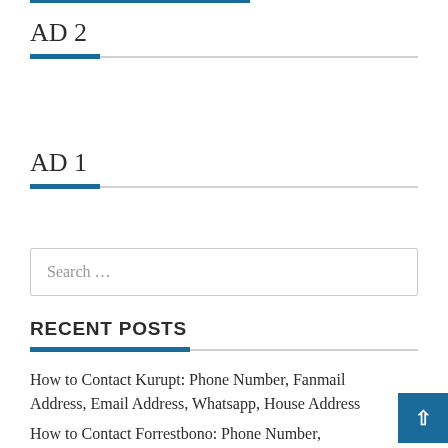AD 2
AD 1
Search ...
RECENT POSTS
How to Contact Kurupt: Phone Number, Fanmail Address, Email Address, Whatsapp, House Address
How to Contact Forrestbono: Phone Number,